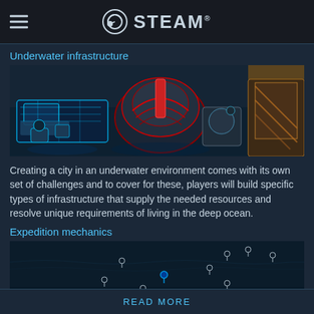STEAM
Underwater infrastructure
[Figure (screenshot): Top-down view of an underwater city-building game showing futuristic structures with red and blue glowing elements on a dark ocean floor]
Creating a city in an underwater environment comes with its own set of challenges and to cover for these, players will build specific types of infrastructure that supply the needed resources and resolve unique requirements of living in the deep ocean.
Expedition mechanics
[Figure (screenshot): Dark blue underwater map view with small white marker icons scattered across the ocean floor terrain]
READ MORE